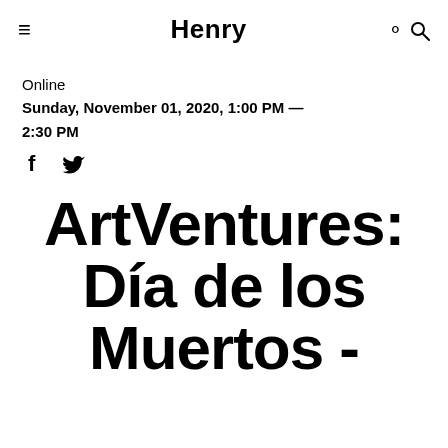Henry
Online
Sunday, November 01, 2020, 1:00 PM — 2:30 PM
[Figure (other): Social share icons: Facebook (f) and Twitter (bird icon)]
ArtVentures: Día de los Muertos -